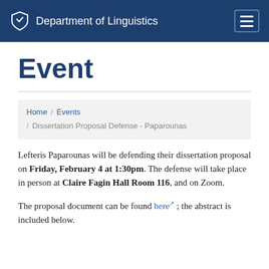Department of Linguistics
Event
Home / Events / Dissertation Proposal Defense - Paparounas
Lefteris Paparounas will be defending their dissertation proposal on Friday, February 4 at 1:30pm. The defense will take place in person at Claire Fagin Hall Room 116, and on Zoom.
The proposal document can be found here ; the abstract is included below.